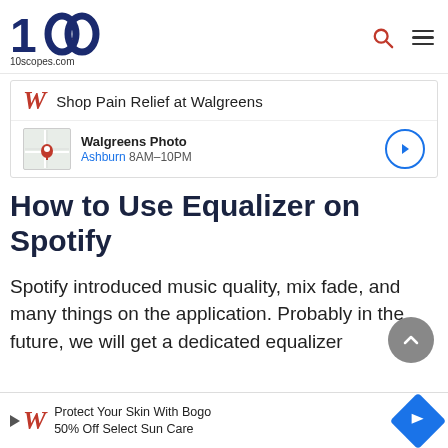10scopes.com
[Figure (infographic): Walgreens advertisement banner: Shop Pain Relief at Walgreens, Walgreens Photo, Ashburn 8AM-10PM]
How to Use Equalizer on Spotify
Spotify introduced music quality, mix fade, and many things on the application. Probably in the future, we will get a dedicated equalizer
[Figure (infographic): Bottom Walgreens advertisement: Protect Your Skin With Bogo 50% Off Select Sun Care]